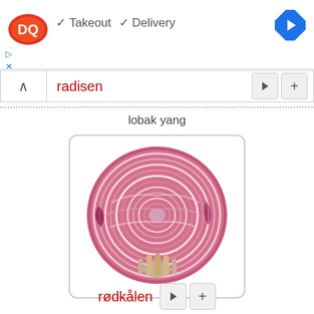[Figure (logo): Dairy Queen DQ logo with red and orange oval, white DQ letters]
✓ Takeout ✓ Delivery
[Figure (other): Blue diamond navigation arrow icon]
▷
✕
radisen ▶ +
lobak yang
[Figure (photo): Cross-section of a red cabbage showing purple-pink and white layered interior pattern]
rødkålen ▶ +